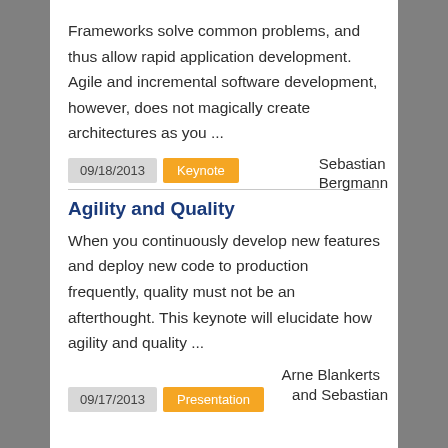Frameworks solve common problems, and thus allow rapid application development. Agile and incremental software development, however, does not magically create architectures as you ...
09/18/2013  Keynote  Sebastian Bergmann
Agility and Quality
When you continuously develop new features and deploy new code to production frequently, quality must not be an afterthought. This keynote will elucidate how agility and quality ...
Arne Blankerts and Sebastian
09/17/2013  Presentation